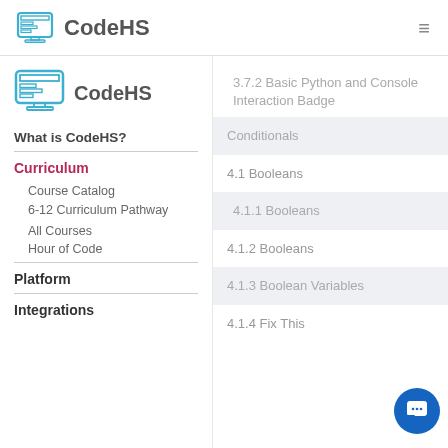CodeHS
[Figure (logo): CodeHS logo - computer monitor icon]
What is CodeHS?
Curriculum
Course Catalog
6-12 Curriculum Pathway
All Courses
Hour of Code
Platform
Integrations
3.7.2 Basic Python and Console Interaction Badge
Conditionals
4.1 Booleans
4.1.1 Booleans
4.1.2 Booleans
4.1.3 Boolean Variables
4.1.4 Fix This